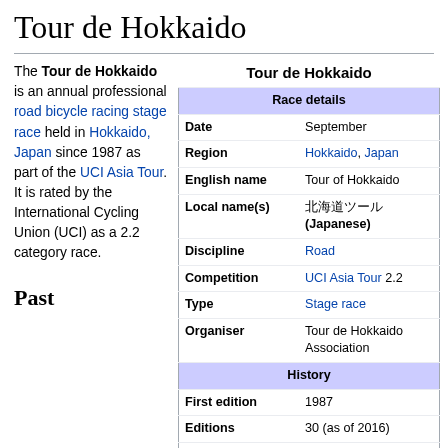Tour de Hokkaido
The Tour de Hokkaido is an annual professional road bicycle racing stage race held in Hokkaido, Japan since 1987 as part of the UCI Asia Tour. It is rated by the International Cycling Union (UCI) as a 2.2 category race.
| Field | Value |
| --- | --- |
| Race details |  |
| Date | September |
| Region | Hokkaido, Japan |
| English name | Tour of Hokkaido |
| Local name(s) | 北海道ツール (Japanese) |
| Discipline | Road |
| Competition | UCI Asia Tour 2.2 |
| Type | Stage race |
| Organiser | Tour de Hokkaido Association |
| History |  |
| First edition | 1987 |
| Editions | 30 (as of 2016) |
| First winner | Matsuyoshi Takahashi (JPN) |
| Most wins | Daisuke Imanaka (JPN) (3 wins) |
| Most recent | Nariyuki Masuda (JPN) |
Past